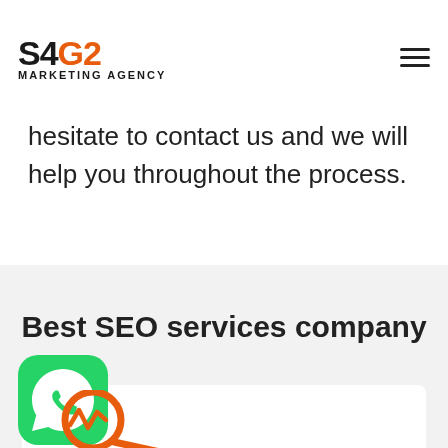S4G2 MARKETING AGENCY
hesitate to contact us and we will help you throughout the process.
Best SEO services company
[Figure (logo): WhatsApp green icon with phone handset]
[Figure (illustration): Orange search/analytics icon with heartbeat line]